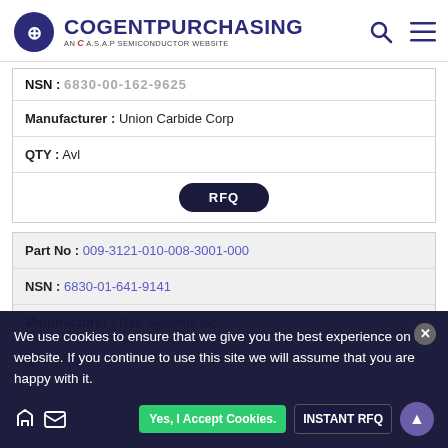COGENTPURCHASING — AN A.S.A.P SEMICONDUCTOR WEBSITE
NSN: 6830-00-162-9625 (partial, truncated)
Manufacturer: Union Carbide Corp
QTY: Avl
RFQ
Part No: 009-3121-010-008-3001-000
NSN: 6830-01-641-9141
Manufacturer: Rae Systems Inc
QTY: Avl
RFQ
We use cookies to ensure that we give you the best experience on our website. If you continue to use this site we will assume that you are happy with it.
Yes, I Accept Cookies.
INSTANT RFQ